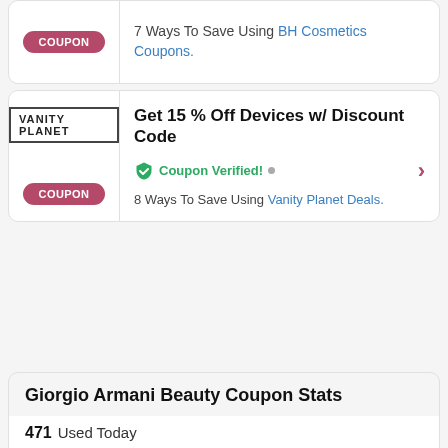7 Ways To Save Using BH Cosmetics Coupons.
[Figure (other): COUPON button badge (pink/mauve rounded rectangle)]
[Figure (logo): VANITY PLANET brand box logo]
Get 15 % Off Devices w/ Discount Code
Coupon Verified!
8 Ways To Save Using Vanity Planet Deals.
[Figure (other): COUPON button badge (pink/mauve rounded rectangle)]
Giorgio Armani Beauty Coupon Stats
471 Used Today
9 Offers Available
3 Verified
☆☆☆☆☆ 0